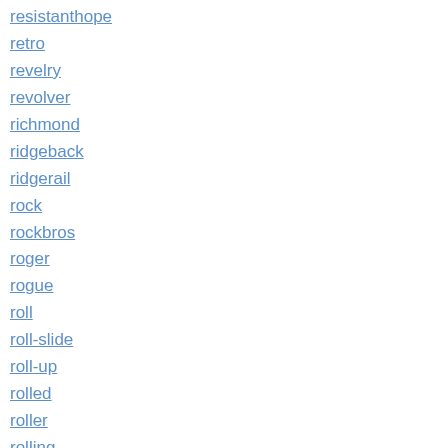resistanthope
retro
revelry
revolver
richmond
ridgeback
ridgerail
rock
rockbros
roger
rogue
roll
roll-slide
roll-up
rolled
roller
rolling